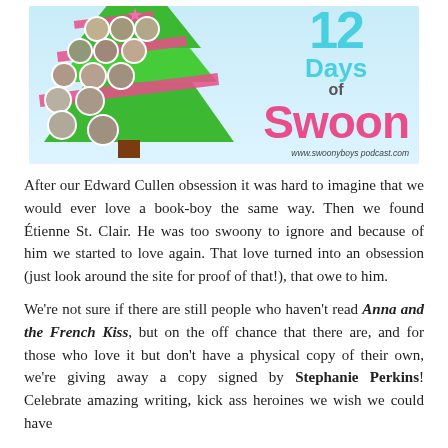[Figure (illustration): 12 Days of Swoon banner image with a Christmas tree made of celebrity photos, pink and green decorations, and swoony boys podcast branding. Title reads '12 Days of Swoon' with website www.swoonyboys podcast.com]
After our Edward Cullen obsession it was hard to imagine that we would ever love a book-boy the same way. Then we found Étienne St. Clair. He was too swoony to ignore and because of him we started to love again. That love turned into an obsession (just look around the site for proof of that!), that owe to him.
We're not sure if there are still people who haven't read Anna and the French Kiss, but on the off chance that there are, and for those who love it but don't have a physical copy of their own, we're giving away a copy signed by Stephanie Perkins! Celebrate amazing writing, kick ass heroines we wish we could have